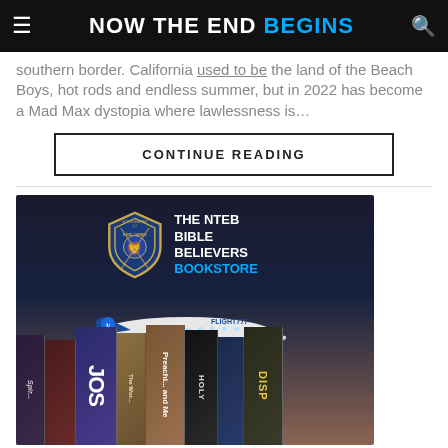NOW THE END BEGINS
southern border. California used to be the land of the Beach Boys, hot rods and endless summer, but in 2022 has become a Mad Max dystopia where lawlessness is…
CONTINUE READING
[Figure (illustration): The NTEB Bible Believers Bookstore advertisement showing a shield/crest logo, a blue and white airplane labeled FLIGHT777, and a row of books including titles like Jos, The World, Preaching and Me, Holy, Disp on a dark background.]